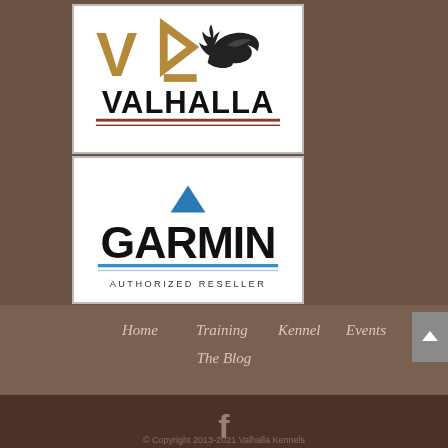[Figure (logo): Valhalla Kennels logo with stylized V> mark in brown/tan colors, pheasant bird silhouette, and bold VALHALLA text with underline]
[Figure (logo): Garmin Authorized Reseller logo with blue triangle, bold GARMIN text, blue underline, and AUTHORIZED RESELLER text]
Home
Training
Kennel
Events
The Blog
© Copyright 2013-2021 Valhalla Kennels